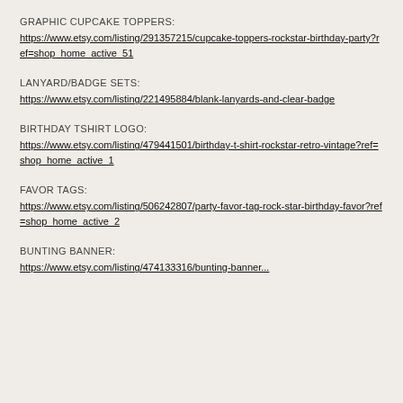GRAPHIC CUPCAKE TOPPERS:
https://www.etsy.com/listing/291357215/cupcake-toppers-rockstar-birthday-party?ref=shop_home_active_51
LANYARD/BADGE SETS:
https://www.etsy.com/listing/221495884/blank-lanyards-and-clear-badge
BIRTHDAY TSHIRT LOGO:
https://www.etsy.com/listing/479441501/birthday-t-shirt-rockstar-retro-vintage?ref=shop_home_active_1
FAVOR TAGS:
https://www.etsy.com/listing/506242807/party-favor-tag-rock-star-birthday-favor?ref=shop_home_active_2
BUNTING BANNER:
https://www.etsy.com/listing/474133316/bunting-banner...